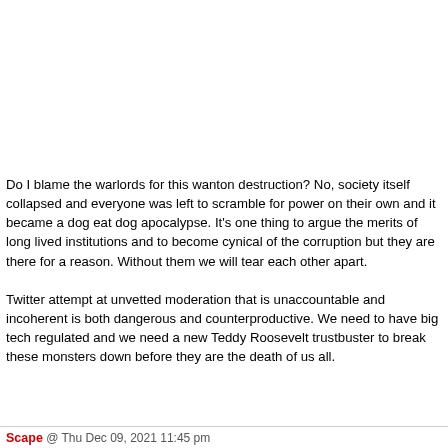Do I blame the warlords for this wanton destruction? No, society itself collapsed and everyone was left to scramble for power on their own and it became a dog eat dog apocalypse. It's one thing to argue the merits of long lived institutions and to become cynical of the corruption but they are there for a reason. Without them we will tear each other apart.

Twitter attempt at unvetted moderation that is unaccountable and incoherent is both dangerous and counterproductive. We need to have big tech regulated and we need a new Teddy Roosevelt trustbuster to break these monsters down before they are the death of us all.
Scape @ Thu Dec 09, 2021 11:45 pm